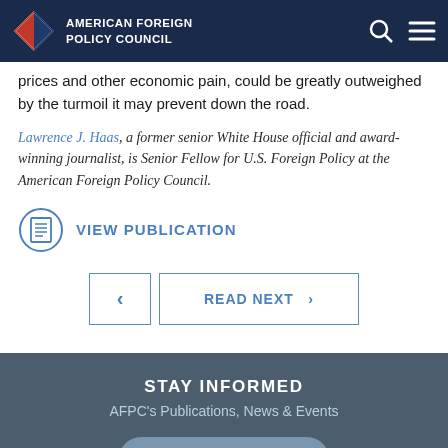AMERICAN FOREIGN POLICY COUNCIL
prices and other economic pain, could be greatly outweighed by the turmoil it may prevent down the road.
Lawrence J. Haas, a former senior White House official and award-winning journalist, is Senior Fellow for U.S. Foreign Policy at the American Foreign Policy Council.
VIEW PUBLICATION
< READ NEXT >
STAY INFORMED
AFPC's Publications, News & Events
SUBSCRIBE